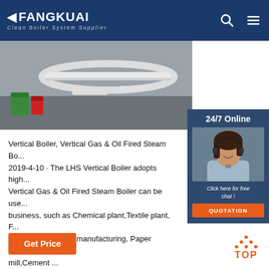FANGKUAI — Clean Boiler System Supplier
[Figure (photo): Photo of boiler components (curved white metal pipes/tubes) on a workshop floor with a green bucket nearby]
[Figure (photo): 24/7 Online customer service agent — woman with headset smiling, sidebar banner with 'Click here for free chat!' and QUOTATION button]
Vertical Boiler, Vertical Gas & Oil Fired Steam Bo... 2019-4-10 · The LHS Vertical Boiler adopts high... Vertical Gas & Oil Fired Steam Boiler can be use... business, such as Chemical plant,Textile plant, F... Beverage,Garment manufacturing, Paper Plant,F... mill,Cement ...
Get Price